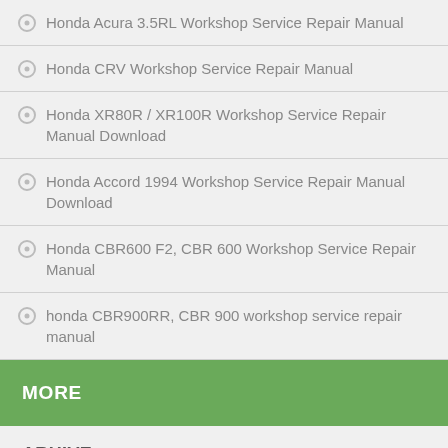Honda Acura 3.5RL Workshop Service Repair Manual
Honda CRV Workshop Service Repair Manual
Honda XR80R / XR100R Workshop Service Repair Manual Download
Honda Accord 1994 Workshop Service Repair Manual Download
Honda CBR600 F2, CBR 600 Workshop Service Repair Manual
honda CBR900RR, CBR 900 workshop service repair manual
MORE
ARHIVE